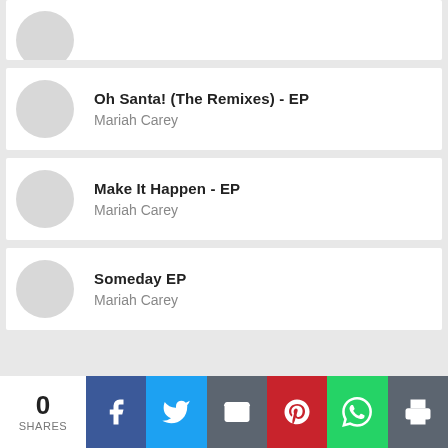[Figure (illustration): Partial album card at top with grey circle thumbnail, cropped]
Oh Santa! (The Remixes) - EP
Mariah Carey
Make It Happen - EP
Mariah Carey
Someday EP
Mariah Carey
0 SHARES
[Figure (infographic): Social share buttons: Facebook, Twitter, Email, Pinterest, WhatsApp, Print]